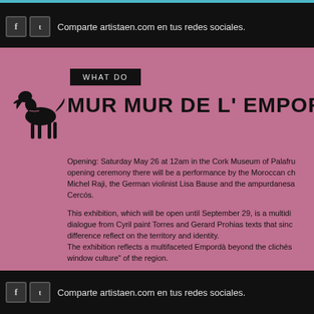Comparte artistaen.com en tus redes sociales.
[Figure (illustration): Black silhouette illustration of a dog (hound) standing]
WHAT DO
MUR MUR DE L' EMPORDÀ
Opening: Saturday May 26 at 12am in the Cork Museum of Palafru... opening ceremony there will be a performance by the Moroccan ch... Michel Raji, the German violinist Lisa Bause and the ampurdanesa... Cercós.
This exhibition, which will be open until September 29, is a multidi... dialogue from Cyril paint Torres and Gerard Prohias texts that sinc... difference reflect on the territory and identity. The exhibition reflects a multifaceted Empordà beyond the clichés... window culture" of the region.
Mur_murs Empordà meets, joins and mixing paint with Cyril Tower... Gerard letters, which serve as an element of reflection and thinking... identity, roots, culture, land, landscape and people. The exhibition... the imaginary wall that separates reality from topics.
Comparte artistaen.com en tus redes sociales.